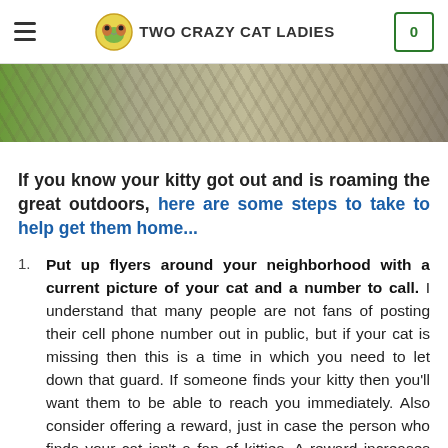TWO CRAZY CAT LADIES
[Figure (photo): Outdoor nature/tree bark and foliage hero banner image]
If you know your kitty got out and is roaming the great outdoors, here are some steps to take to help get them home...
Put up flyers around your neighborhood with a current picture of your cat and a number to call. I understand that many people are not fans of posting their cell phone number out in public, but if your cat is missing then this is a time in which you need to let down that guard. If someone finds your kitty then you'll want them to be able to reach you immediately. Also consider offering a reward, just in case the person who finds your cat isn't a fan of kitties. A reward increases the chances of someone...